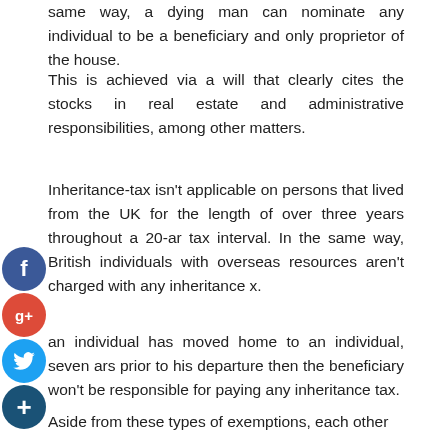same way, a dying man can nominate any individual to be a beneficiary and only proprietor of the house.
This is achieved via a will that clearly cites the stocks in real estate and administrative responsibilities, among other matters.
Inheritance-tax isn't applicable on persons that lived from the UK for the length of over three years throughout a 20-ar tax interval. In the same way, British individuals with overseas resources aren't charged with any inheritance x.
an individual has moved home to an individual, seven ars prior to his departure then the beneficiary won't be responsible for paying any inheritance tax.
Aside from these types of exemptions, each other